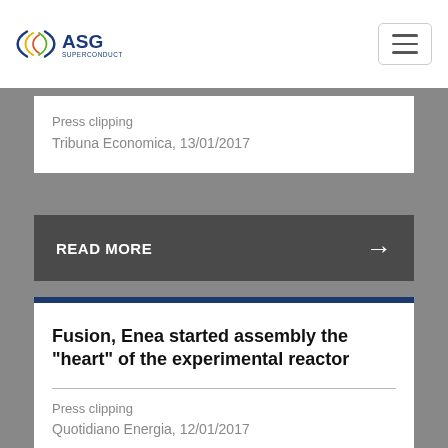ASG Superconductors
Press clipping
Tribuna Economica, 13/01/2017
READ MORE →
Fusion, Enea started assembly the "heart" of the experimental reactor
Press clipping
Quotidiano Energia, 12/01/2017